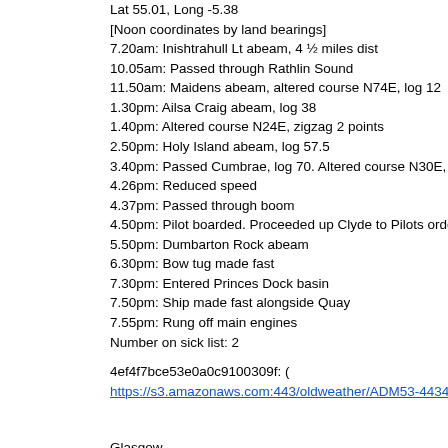Lat 55.01, Long -5.38
[Noon coordinates by land bearings]
7.20am: Inishtrahull Lt abeam, 4 ½ miles dist
10.05am: Passed through Rathlin Sound
11.50am: Maidens abeam, altered course N74E, log 12
1.30pm: Ailsa Craig abeam, log 38
1.40pm: Altered course N24E, zigzag 2 points
2.50pm: Holy Island abeam, log 57.5
3.40pm: Passed Cumbrae, log 70. Altered course N30E, stopped zigz
4.26pm: Reduced speed
4.37pm: Passed through boom
4.50pm: Pilot boarded. Proceeded up Clyde to Pilots orders
5.50pm: Dumbarton Rock abeam
6.30pm: Bow tug made fast
7.30pm: Entered Princes Dock basin
7.50pm: Ship made fast alongside Quay
7.55pm: Rung off main engines
Number on sick list: 2
4ef4f7bce53e0a0c9100309f: (
https://s3.amazonaws.com:443/oldweather/ADM53-44345/ADM 53-44
2 March 1917
Glasgow
Lat 55.86, Long -4.3
8.0am: Hands paid their money. Leave given to Starboard Watch
9.0am: Hands employed shifting ship
10.0am: Five ratings joined ship
10.45am: Hands employed cleaning ship
1.30pm: Hands painting mess deck and as requisite
2.30pm: Discharged One Marine to Head Quarters